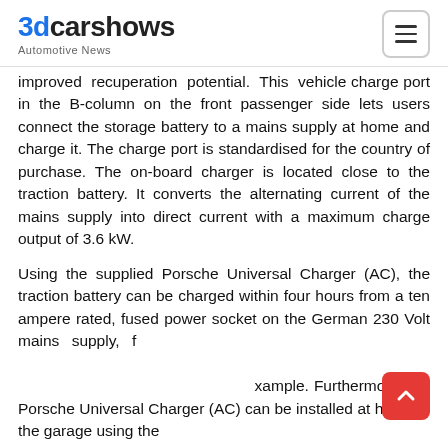3dcarshows Automotive News
improved recuperation potential. This vehicle charge port in the B-column on the front passenger side lets users connect the storage battery to a mains supply at home and charge it. The charge port is standardised for the country of purchase. The on-board charger is located close to the traction battery. It converts the alternating current of the mains supply into direct current with a maximum charge output of 3.6 kW.
Using the supplied Porsche Universal Charger (AC), the traction battery can be charged within four hours from a ten ampere rated, fused power socket on the German 230 Volt mains supply, for example. Furthermore, the Porsche Universal Charger (AC) can be installed at home in the garage using the